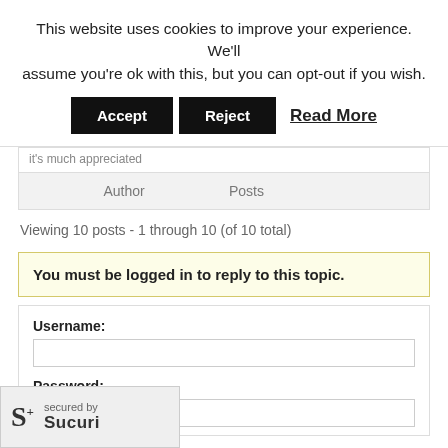This website uses cookies to improve your experience. We'll assume you're ok with this, but you can opt-out if you wish.
Accept | Reject | Read More
it's much appreciated
| Author | Posts |
| --- | --- |
Viewing 10 posts - 1 through 10 (of 10 total)
You must be logged in to reply to this topic.
Username:
Password:
[Figure (logo): Sucuri security badge showing S+ logo with 'secured by Sucuri' text]